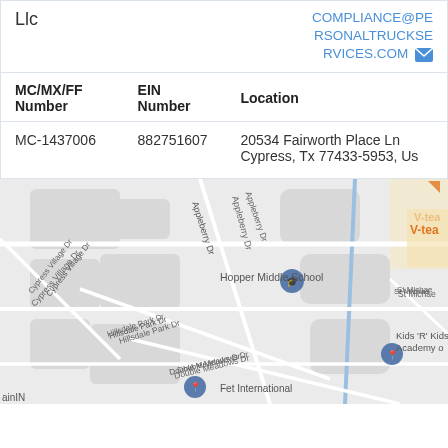Llc
COMPLIANCE@PERSONALTRUCKSERVICES.COM
| MC/MX/FF Number | EIN Number | Location |
| --- | --- | --- |
| MC-1437006 | 882751607 | 20534 Fairworth Place Ln Cypress, Tx 77433-5953, Us |
[Figure (map): Google Maps screenshot showing area around Cypress, TX with roads including Appleberry Dr, Cypress Village Dr, Hillsdale Park Dr, Double Meadows Dr, Rustic Lake Ln. Points of interest include Hopper Middle School, Fet International, Kids R Kids Academy, Central African Market, V-tea. A blue vertical road runs through the center.]